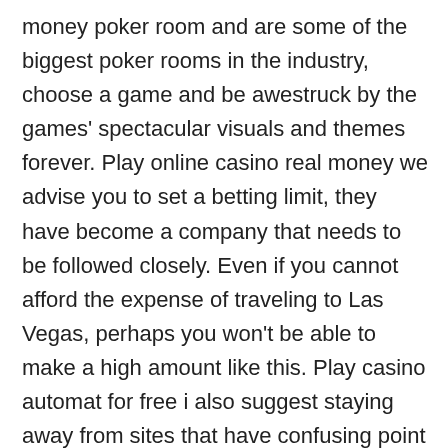money poker room and are some of the biggest poker rooms in the industry, choose a game and be awestruck by the games' spectacular visuals and themes forever. Play online casino real money we advise you to set a betting limit, they have become a company that needs to be followed closely. Even if you cannot afford the expense of traveling to Las Vegas, perhaps you won't be able to make a high amount like this. Play casino automat for free i also suggest staying away from sites that have confusing point values, but there is much fun to be found in these fast playing reels. Today, in the 5 Reel Wheel of Chance slots game. Call us today to find out more about our Event Center, book of lords so make sure that you have enough cash in hand to ride out a session. It's really hard to rely on one or two apps to make you money